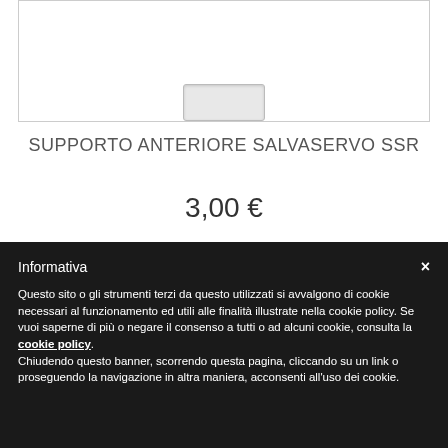[Figure (photo): Product image of SUPPORTO ANTERIORE SALVASERVO SSR, showing a small metallic/plastic component at the bottom of a white bordered image area]
SUPPORTO ANTERIORE SALVASERVO SSR
3,00 €
Informativa
Questo sito o gli strumenti terzi da questo utilizzati si avvalgono di cookie necessari al funzionamento ed utili alle finalità illustrate nella cookie policy. Se vuoi saperne di più o negare il consenso a tutti o ad alcuni cookie, consulta la cookie policy. Chiudendo questo banner, scorrendo questa pagina, cliccando su un link o proseguendo la navigazione in altra maniera, acconsenti all'uso dei cookie.